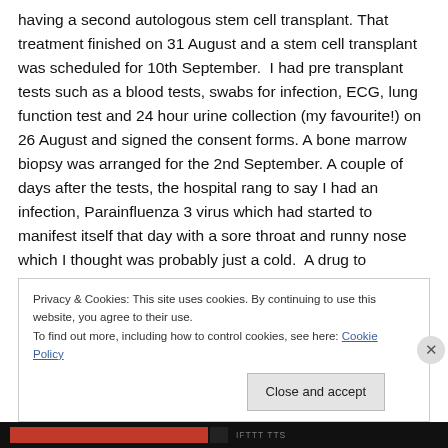having a second autologous stem cell transplant. That treatment finished on 31 August and a stem cell transplant was scheduled for 10th September.  I had pre transplant tests such as a blood tests, swabs for infection, ECG, lung function test and 24 hour urine collection (my favourite!) on 26 August and signed the consent forms. A bone marrow biopsy was arranged for the 2nd September. A couple of days after the tests, the hospital rang to say I had an infection, Parainfluenza 3 virus which had started to manifest itself that day with a sore throat and runny nose which I thought was probably just a cold.  A drug to
Privacy & Cookies: This site uses cookies. By continuing to use this website, you agree to their use.
To find out more, including how to control cookies, see here: Cookie Policy